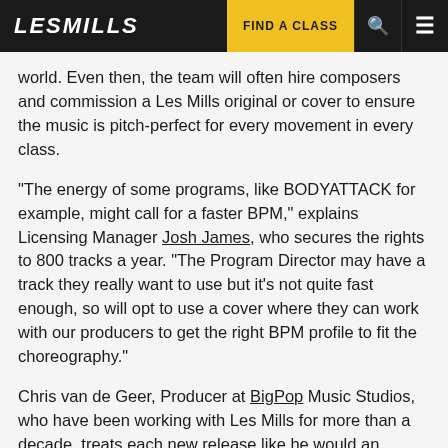LES MILLS | FIND A CLASS
world. Even then, the team will often hire composers and commission a Les Mills original or cover to ensure the music is pitch-perfect for every movement in every class.
"The energy of some programs, like BODYATTACK for example, might call for a faster BPM," explains Licensing Manager Josh James, who secures the rights to 800 tracks a year. "The Program Director may have a track they really want to use but it's not quite fast enough, so will opt to use a cover where they can work with our producers to get the right BPM profile to fit the choreography."
Chris van de Geer, Producer at BigPop Music Studios, who have been working with Les Mills for more than a decade, treats each new release like he would an album.